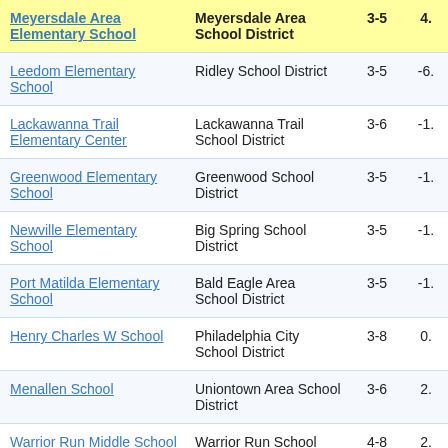| Meyersdale Area Elementary School | Meyersdale Area School District | 3-5 | 4. |
| --- | --- | --- | --- |
| Leedom Elementary School | Ridley School District | 3-5 | -6. |
| Lackawanna Trail Elementary Center | Lackawanna Trail School District | 3-6 | -1. |
| Greenwood Elementary School | Greenwood School District | 3-5 | -1. |
| Newville Elementary School | Big Spring School District | 3-5 | -1. |
| Port Matilda Elementary School | Bald Eagle Area School District | 3-5 | -1. |
| Henry Charles W School | Philadelphia City School District | 3-8 | 0. |
| Menallen School | Uniontown Area School District | 3-6 | 2. |
| Warrior Run Middle School | Warrior Run School District | 4-8 | 2. |